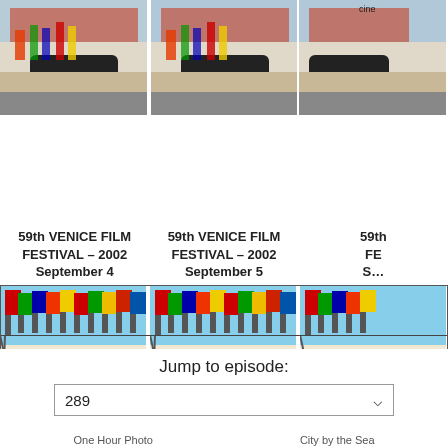[Figure (photo): Top row of three thumbnail photos showing Venice Film Festival scene with car parked in front of building; third image partially cropped]
59th VENICE FILM FESTIVAL – 2002 September 4
59th VENICE FILM FESTIVAL – 2002 September 5
59th VENICE FILM FESTIVAL – 2002 (partial, cropped)
[Figure (photo): Main navigation row showing three Venice Film Festival photos with 'Episode Navigation' overlay text, 'Previous' label bottom-left, 'Next' label bottom-right, horizontal lines indicating navigation interface]
Jump to episode:
289
One Hour Photo
City by the Sea